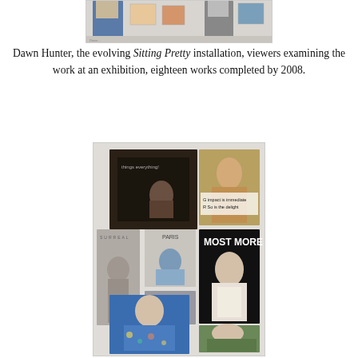[Figure (photo): Top cropped photo showing Dawn Hunter's Sitting Pretty installation, viewers examining artwork on gallery walls]
Dawn Hunter, the evolving Sitting Pretty installation, viewers examining the work at an exhibition, eighteen works completed by 2008.
[Figure (photo): Collage of magazine covers and fashion photographs, including covers labeled MOST MORE, PARIS, and others featuring models]